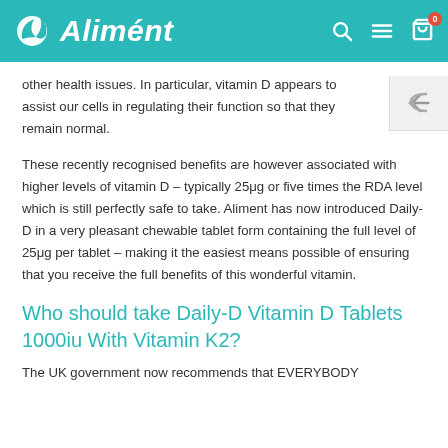Aliment
other health issues. In particular, vitamin D appears to assist our cells in regulating their function so that they remain normal.
These recently recognised benefits are however associated with higher levels of vitamin D – typically 25μg or five times the RDA level which is still perfectly safe to take. Aliment has now introduced Daily-D in a very pleasant chewable tablet form containing the full level of 25μg per tablet – making it the easiest means possible of ensuring that you receive the full benefits of this wonderful vitamin.
Who should take Daily-D Vitamin D Tablets 1000iu With Vitamin K2?
The UK government now recommends that EVERYBODY